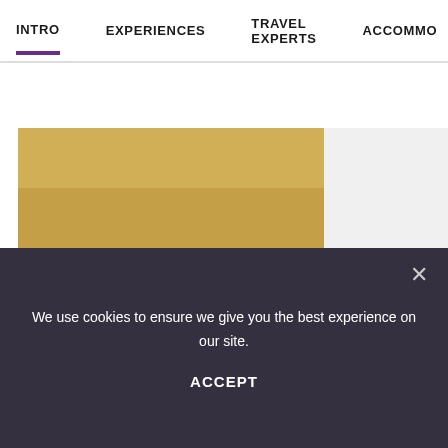INTRO   EXPERIENCES   TRAVEL EXPERTS   ACCOMMO
[Figure (photo): Two lions (lionesses) lying in dry golden savanna grass, viewed from behind/side, looking to the right. Close-up wildlife photography with warm sandy tones.]
We use cookies to ensure we give you the best experience on our site.
ACCEPT